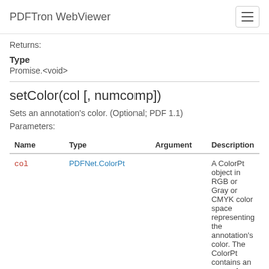PDFTron WebViewer
Returns:
Type
Promise.<void>
setColor(col [, numcomp])
Sets an annotation's color. (Optional; PDF 1.1)
Parameters:
| Name | Type | Argument | Description |
| --- | --- | --- | --- |
| col | PDFNet.ColorPt |  | A ColorPt object in RGB or Gray or CMYK color space representing the annotation's color. The ColorPt contains an array of numbers in the range 0.0 to 1.0, representing a color used for the following |